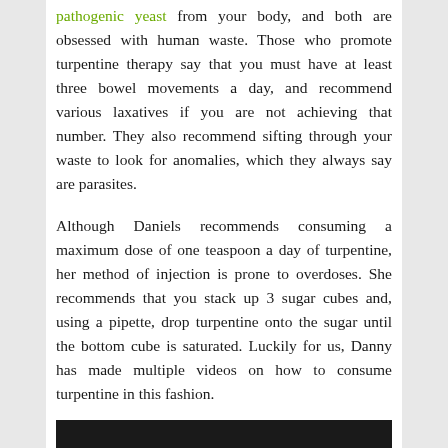pathogenic yeast from your body, and both are obsessed with human waste. Those who promote turpentine therapy say that you must have at least three bowel movements a day, and recommend various laxatives if you are not achieving that number. They also recommend sifting through your waste to look for anomalies, which they always say are parasites.
Although Daniels recommends consuming a maximum dose of one teaspoon a day of turpentine, her method of injection is prone to overdoses. She recommends that you stack up 3 sugar cubes and, using a pipette, drop turpentine onto the sugar until the bottom cube is saturated. Luckily for us, Danny has made multiple videos on how to consume turpentine in this fashion.
[Figure (screenshot): Dark/black video embed or screenshot placeholder]